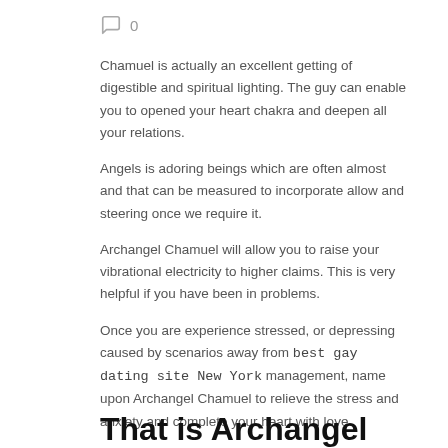0
Chamuel is actually an excellent getting of digestible and spiritual lighting. The guy can enable you to opened your heart chakra and deepen all your relations.
Angels is adoring beings which are often almost and that can be measured to incorporate allow and steering once we require it.
Archangel Chamuel will allow you to raise your vibrational electricity to higher claims. This is very helpful if you have been in problems.
Once you are experience stressed, or depressing caused by scenarios away from best gay dating site New York management, name upon Archangel Chamuel to relieve the stress and anxiety and complete your heart with love.
That is Archangel